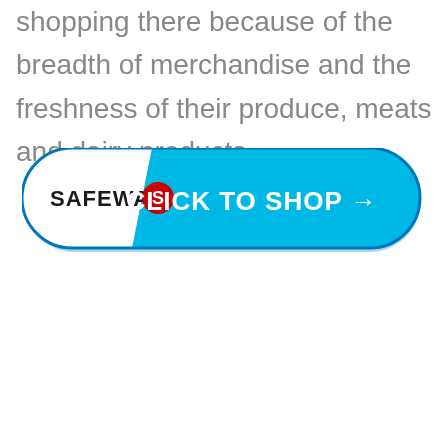shopping there because of the breadth of merchandise and the freshness of their produce, meats and dairy products.
[Figure (logo): Safeway 'Click to Shop' button with Safeway logo on the left white section and 'CLICK TO SHOP →' text on the right blue section, pill-shaped button with blue border and shadow.]